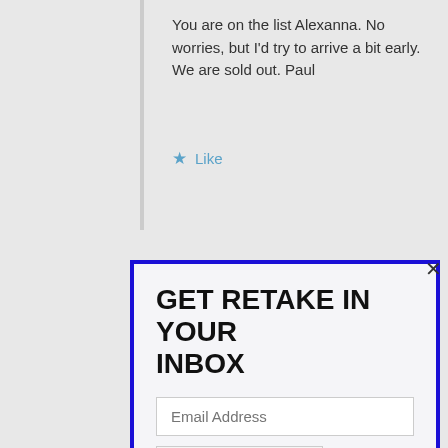You are on the list Alexanna. No worries, but I'd try to arrive a bit early. We are sold out. Paul
Like
[Figure (screenshot): Email subscription modal with blue border containing title 'GET RETAKE IN YOUR INBOX', email input field, SUBSCRIBE button, and subscriber count text]
GET RETAKE IN YOUR INBOX
Email Address
SUBSCRIBE
Join 4,165 other subscribers